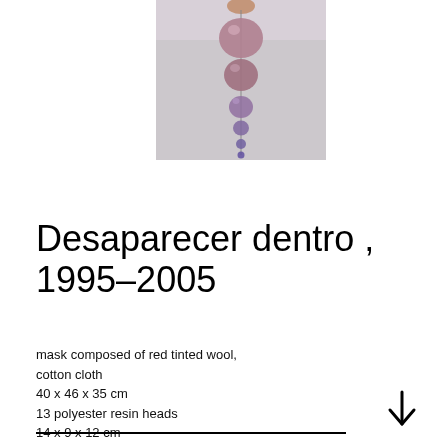[Figure (photo): A hand holding a strand of descending spherical beads or resin heads, graduating in size from large at top to small at bottom, in purplish-pink tones against a light background.]
Desaparecer dentro , 1995–2005
mask composed of red tinted wool, cotton cloth
40 x 46 x 35 cm
13 polyester resin heads
14 x 9 x 12 cm